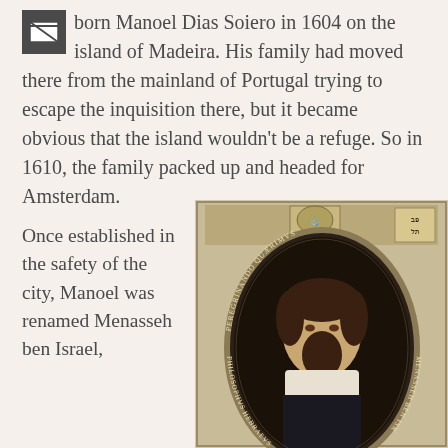born Manoel Dias Soiero in 1604 on the island of Madeira. His family had moved there from the mainland of Portugal trying to escape the inquisition there, but it became obvious that the island wouldn't be a refuge. So in 1610, the family packed up and headed for Amsterdam.
Once established in the safety of the city, Manoel was renamed Menasseh ben Israel,
[Figure (illustration): Historical engraved portrait of Menasseh ben Israel in an oval frame with Latin text around the border reading PEREGRINANDO QUAERIMUS and PHILOSOPHUS HEBRAEUS MENASSEH BEN ISR. A coat of arms appears at the top and Hebrew text at the top right.]